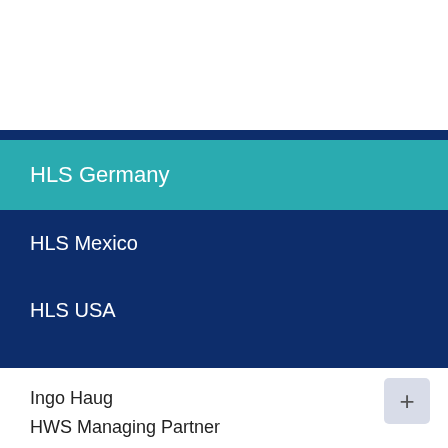HLS Germany
HLS Mexico
HLS USA
HLS Japan
HLS India
Ingo Haug
HWS Managing Partner